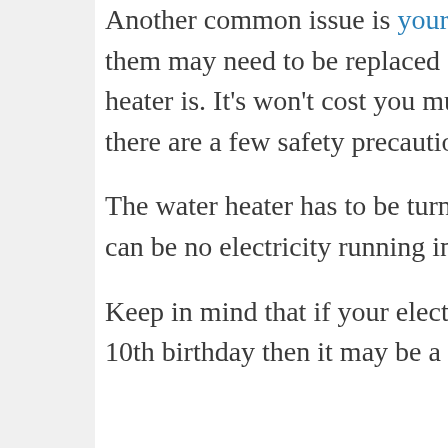Another common issue is your heating element. One or both of them may need to be replaced depending on how old the water heater is. It's won't cost you much money and it's easy to do but there are a few safety precautions you have to take.
The water heater has to be turned off at the circuit breaker. There can be no electricity running into it at all or you could get hurt.
Keep in mind that if your electric water heater is well over its 10th birthday then it may be a better idea